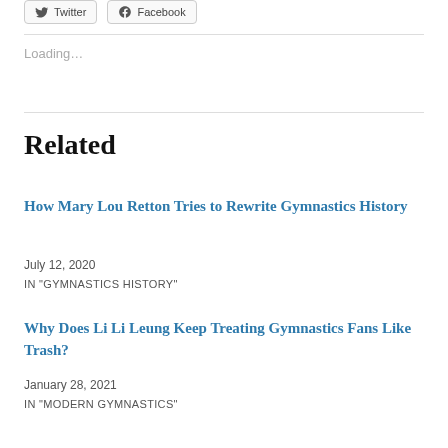[Figure (other): Twitter and Facebook share buttons at top of page]
Loading…
Related
How Mary Lou Retton Tries to Rewrite Gymnastics History
July 12, 2020
IN "GYMNASTICS HISTORY"
Why Does Li Li Leung Keep Treating Gymnastics Fans Like Trash?
January 28, 2021
IN "MODERN GYMNASTICS"